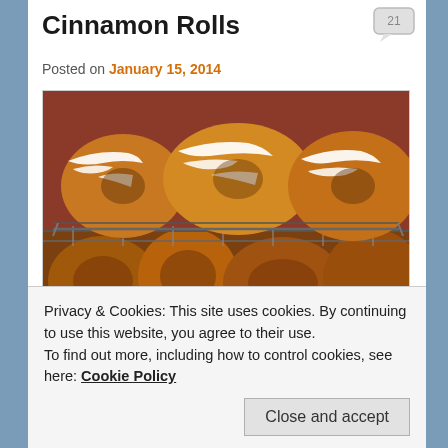Cinnamon Rolls
Posted on January 15, 2014
[Figure (photo): Close-up photograph of glazed cinnamon rolls on a cooling rack, with white icing dripping over the tops. The rolls are golden-brown and photographed against a warm reddish-brown background.]
Privacy & Cookies: This site uses cookies. By continuing to use this website, you agree to their use.
To find out more, including how to control cookies, see here: Cookie Policy
Close and accept